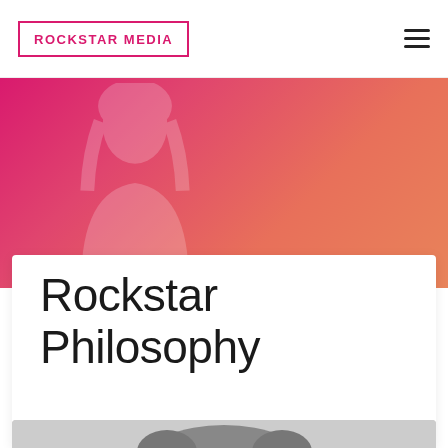ROCKSTAR MEDIA
[Figure (screenshot): Hero banner with pink-to-salmon gradient background and faint watermark silhouette of a person]
Rockstar Philosophy
[Figure (photo): Partial view of a person's head/hair at the bottom of the page in grayscale]